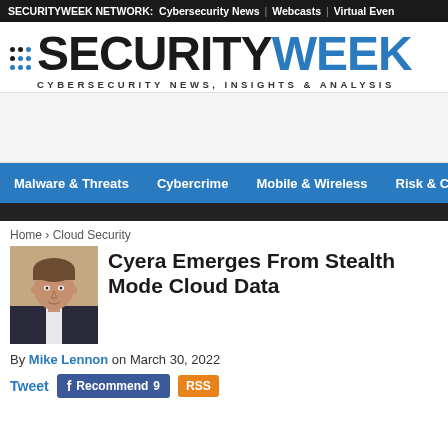SECURITYWEEK NETWORK: Cybersecurity News | Webcasts | Virtual Even
[Figure (logo): SecurityWeek logo with stylized bullet points and tagline CYBERSECURITY NEWS, INSIGHTS & ANALYSIS]
[Figure (other): Advertisement banner placeholder]
Malware & Threats | Cybercrime | Mobile & Wireless | Risk & Complia
Home › Cloud Security
Cyera Emerges From Stealth Mode Cloud Data
By Mike Lennon on March 30, 2022
Tweet  Recommend 9  RSS